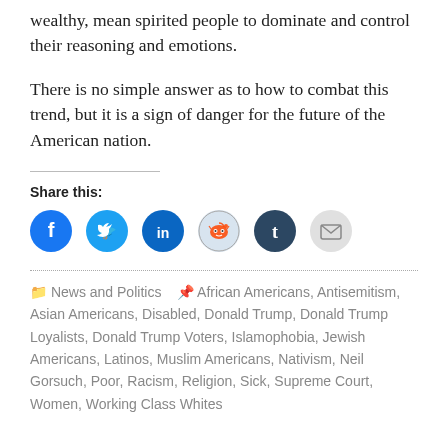wealthy, mean spirited people to dominate and control their reasoning and emotions.
There is no simple answer as to how to combat this trend, but it is a sign of danger for the future of the American nation.
Share this:
[Figure (other): Social share buttons: Facebook (blue circle), Twitter (blue circle), LinkedIn (blue circle), Reddit (light blue circle), Tumblr (dark blue circle), Email (gray circle)]
News and Politics · African Americans, Antisemitism, Asian Americans, Disabled, Donald Trump, Donald Trump Loyalists, Donald Trump Voters, Islamophobia, Jewish Americans, Latinos, Muslim Americans, Nativism, Neil Gorsuch, Poor, Racism, Religion, Sick, Supreme Court, Women, Working Class Whites